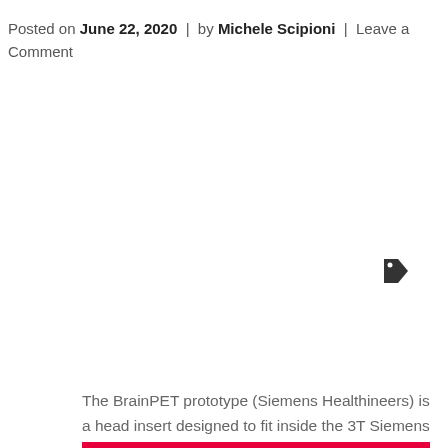Posted on June 22, 2020  |  by Michele Scipioni  |  Leave a Comment
[Figure (illustration): A tag/label icon (price tag shape) in dark gray, pointing right]
The BrainPET prototype (Siemens Healthineers) is a head insert designed to fit inside the 3T Siemens TIM Trio 60 cm whole-body MRI scanner. There are 32 detector cassettes that make up the BrainPET gantry, each consisting of six detector blocks. Each detector block consists of a 12×12 array of lutetium oxyorthosilicate (LSO) crystals (2.5×2.5×20 mm3) readout by a 3×3 array of Hamamatsu avalanche